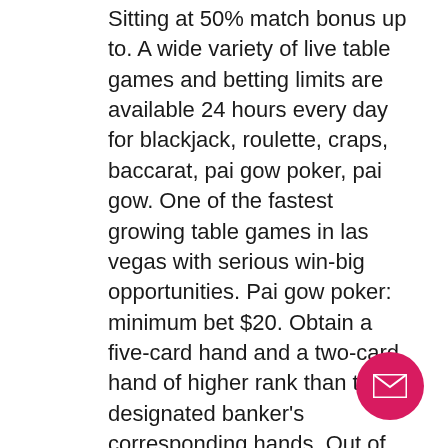Sitting at 50% match bonus up to. A wide variety of live table games and betting limits are available 24 hours every day for blackjack, roulette, craps, baccarat, pai gow poker, pai gow. One of the fastest growing table games in las vegas with serious win-big opportunities. Pai gow poker: minimum bet $20. Obtain a five-card hand and a two-card hand of higher rank than the designated banker's corresponding hands. Out of the seven cards dealt to them, players make their best five-card and two-card poker hands to compete with the dealer's two hands. The five-card hand must. Like the original game, fortune pai gow poker uses a 52-card deck and a joker. Just like web based poker and blackjack, pai gow casino poker requires elements of ability and you may build techniques that will help your. Baton rouge, birmingham, cedar rapids, charlotte, chicago,
[Figure (other): Pink circular email/contact button in the bottom-right corner with a white envelope icon.]